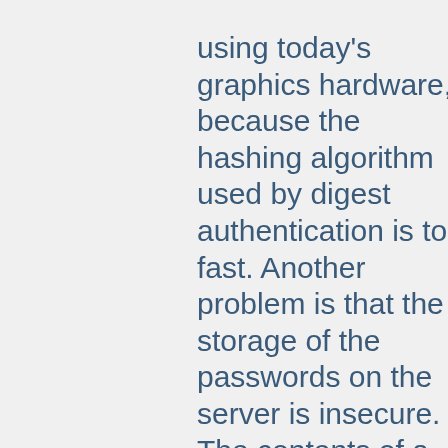using today's graphics hardware, because the hashing algorithm used by digest authentication is too fast. Another problem is that the storage of the passwords on the server is insecure. The contents of a stolen htdigest file can be used directly for digest authentication. Therefore using mod_ssl to encrypt the whole connection is strongly